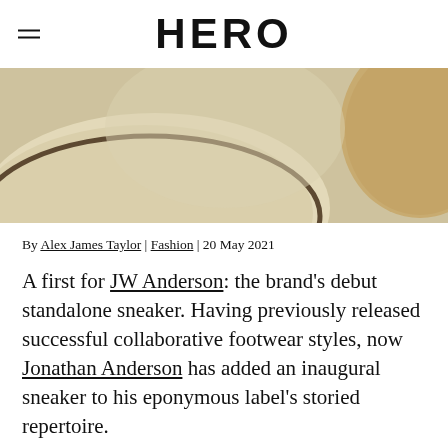HERO
[Figure (photo): Close-up photograph of sneakers on a light cream/beige surface, showing the sole/midsole area with warm tones]
By Alex James Taylor | Fashion | 20 May 2021
A first for JW Anderson: the brand's debut standalone sneaker. Having previously released successful collaborative footwear styles, now Jonathan Anderson has added an inaugural sneaker to his eponymous label's storied repertoire.